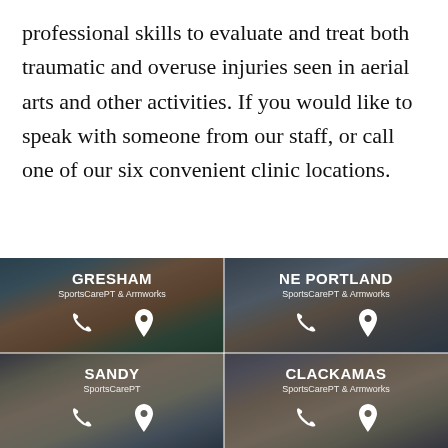professional skills to evaluate and treat both traumatic and overuse injuries seen in aerial arts and other activities. If you would like to speak with someone from our staff, or call one of our six convenient clinic locations.
[Figure (photo): Grid of four clinic location cards showing building photos with overlay text. Top-left: GRESHAM – SportsCarePT & Armworks. Top-right: NE PORTLAND – SportsCarePT & Armworks. Bottom-left: SANDY – SportsCarePT. Bottom-right: CLACKAMAS – SportsCarePT & Armworks. Each card has a phone icon and location pin icon.]